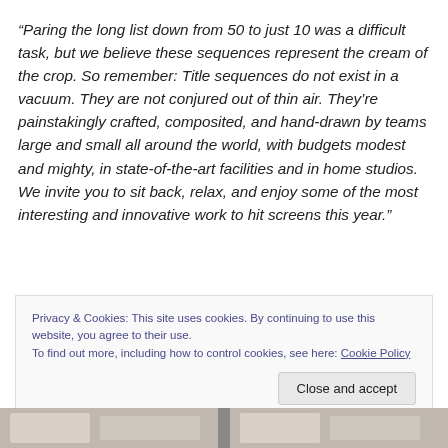“Paring the long list down from 50 to just 10 was a difficult task, but we believe these sequences represent the cream of the crop. So remember: Title sequences do not exist in a vacuum. They are not conjured out of thin air. They’re painstakingly crafted, composited, and hand-drawn by teams large and small all around the world, with budgets modest and mighty, in state-of-the-art facilities and in home studios. We invite you to sit back, relax, and enjoy some of the most interesting and innovative work to hit screens this year.”
Privacy & Cookies: This site uses cookies. By continuing to use this website, you agree to their use.
To find out more, including how to control cookies, see here: Cookie Policy
Close and accept
[Figure (photo): Bottom strip showing partial photos of what appear to be papers or documents, split into two sections.]